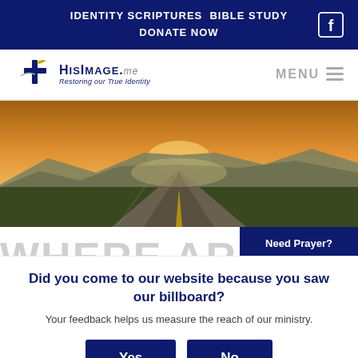IDENTITY SCRIPTURES  BIBLE STUDY  DONATE NOW
[Figure (logo): HisImage.me logo with cross and bird silhouette, tagline: Restoring our True Identity]
MENU
[Figure (photo): Aerial view of a straight road through flat plains with mountains at sunset, golden sky]
Need Prayer?
WHERE ARE YOU
Did you come to our website because you saw our billboard?
Your feedback helps us measure the reach of our ministry.
Yes
No